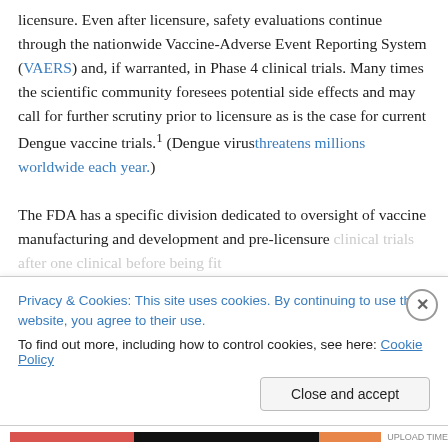licensure. Even after licensure, safety evaluations continue through the nationwide Vaccine-Adverse Event Reporting System (VAERS) and, if warranted, in Phase 4 clinical trials. Many times the scientific community foresees potential side effects and may call for further scrutiny prior to licensure as is the case for current Dengue vaccine trials.1 (Dengue virus threatens millions worldwide each year.)
The FDA has a specific division dedicated to oversight of vaccine manufacturing and development and pre-licensure clinical trials after one clinical before being fit...
Privacy & Cookies: This site uses cookies. By continuing to use this website, you agree to their use. To find out more, including how to control cookies, see here: Cookie Policy